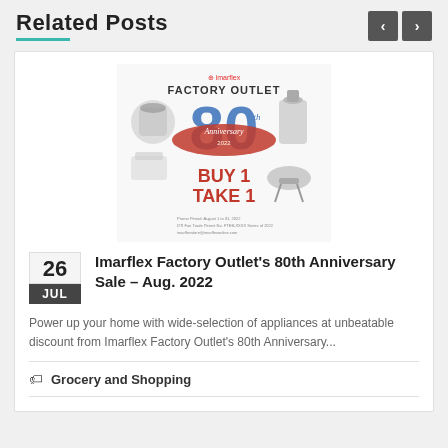Related Posts
[Figure (illustration): Imarflex Factory Outlet 80th Anniversary Sale advertisement poster showing BUY 1 TAKE 1 promotion with various kitchen appliances]
Imarflex Factory Outlet's 80th Anniversary Sale – Aug. 2022
Power up your home with wide-selection of appliances at unbeatable discount from Imarflex Factory Outlet's 80th Anniversary...
Grocery and Shopping